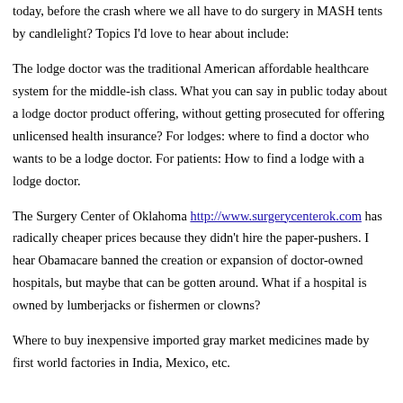today, before the crash where we all have to do surgery in MASH tents by candlelight? Topics I'd love to hear about include:
The lodge doctor was the traditional American affordable healthcare system for the middle-ish class. What you can say in public today about a lodge doctor product offering, without getting prosecuted for offering unlicensed health insurance? For lodges: where to find a doctor who wants to be a lodge doctor. For patients: How to find a lodge with a lodge doctor.
The Surgery Center of Oklahoma http://www.surgerycenterok.com has radically cheaper prices because they didn't hire the paper-pushers. I hear Obamacare banned the creation or expansion of doctor-owned hospitals, but maybe that can be gotten around. What if a hospital is owned by lumberjacks or fishermen or clowns?
Where to buy inexpensive imported gray market medicines made by first world factories in India, Mexico, etc.